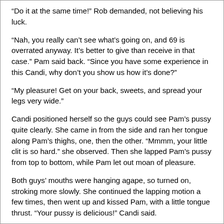“Do it at the same time!” Rob demanded, not believing his luck.
“Nah, you really can’t see what’s going on, and 69 is overrated anyway. It’s better to give than receive in that case.” Pam said back. “Since you have some experience in this Candi, why don’t you show us how it’s done?”
“My pleasure! Get on your back, sweets, and spread your legs very wide.”
Candi positioned herself so the guys could see Pam’s pussy quite clearly. She came in from the side and ran her tongue along Pam’s thighs, one, then the other. “Mmmm, your little clit is so hard.” she observed. Then she lapped Pam’s pussy from top to bottom, while Pam let out moan of pleasure.
Both guys’ mouths were hanging agape, so turned on, stroking more slowly. She continued the lapping motion a few times, then went up and kissed Pam, with a little tongue thrust. “Your pussy is delicious!” Candi said.